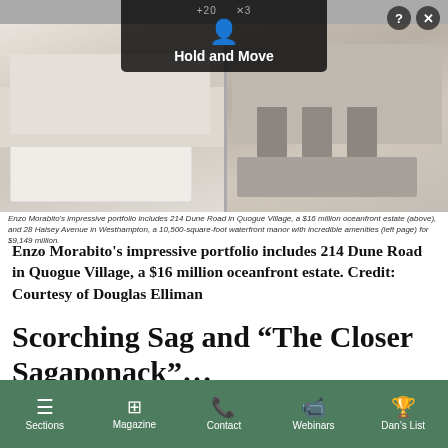[Figure (photo): Photo collage of luxury real estate interiors: left shows a white kitchen with marble island, right shows a dining room with upholstered chairs and decorative items. A 'Hold and Move' overlay with person icon and close/help buttons appears at the top center.]
Enzo Morabito's impressive portfolio includes 214 Dune Road in Quogue Village, a $16 million oceanfront estate (above), and 28 Halsey Avenue in Westhampton, a 10,500-square-foot waterfront manor with incredible amenities (left page) for $9,149 million.
Enzo Morabito's impressive portfolio includes 214 Dune Road in Quogue Village, a $16 million oceanfront estate. Credit: Courtesy of Douglas Elliman
Scorching Sag and “The Closer Sagaponack”…
People are flocking to areas west of the Canal. In droves. For example, Hampton Bays is another area that I predicted would emerge, and it’s now booming. The same for Quogue, which I call “The
Sections | Magazine | Contact | Webinars | Dan's List